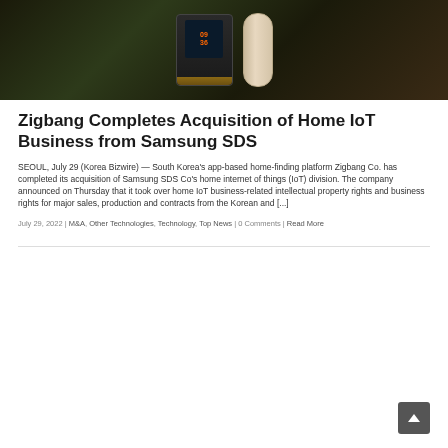[Figure (photo): Dark-toned product photo showing a smart home device/display unit with an orange-tinted screen showing time 09:36, a copper/bronze base, and a cylindrical beige/cream smart speaker, set against a dark geometric background.]
Zigbang Completes Acquisition of Home IoT Business from Samsung SDS
SEOUL, July 29 (Korea Bizwire) — South Korea's app-based home-finding platform Zigbang Co. has completed its acquisition of Samsung SDS Co's home internet of things (IoT) division. The company announced on Thursday that it took over home IoT business-related intellectual property rights and business rights for major sales, production and contracts from the Korean and [...]
July 29, 2022 | M&A, Other Technologies, Technology, Top News | 0 Comments | Read More